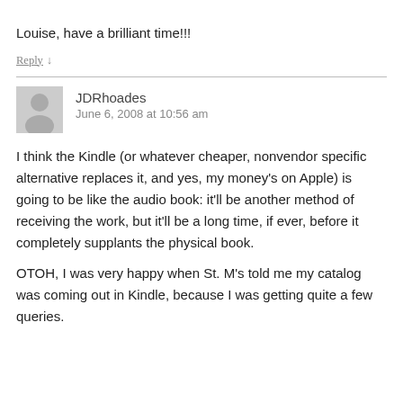Louise, have a brilliant time!!!
Reply ↓
JDRhoades
June 6, 2008 at 10:56 am
I think the Kindle (or whatever cheaper, nonvendor specific alternative replaces it, and yes, my money's on Apple) is going to be like the audio book: it'll be another method of receiving the work, but it'll be a long time, if ever, before it completely supplants the physical book.
OTOH, I was very happy when St. M's told me my catalog was coming out in Kindle, because I was getting quite a few queries.